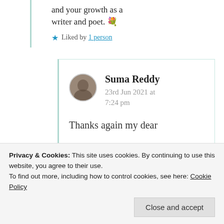and your growth as a writer and poet. 💐
★ Liked by 1 person
Suma Reddy
23rd Jun 2021 at 7:24 pm
Thanks again my dear
Privacy & Cookies: This site uses cookies. By continuing to use this website, you agree to their use.
To find out more, including how to control cookies, see here: Cookie Policy